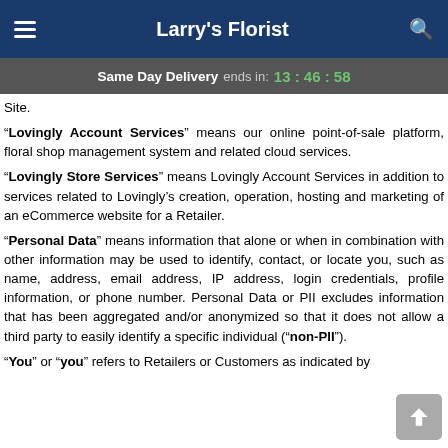Larry's Florist
Same Day Delivery ends in: 13 : 46 : 58
Site.
“Lovingly Account Services” means our online point-of-sale platform, floral shop management system and related cloud services.
“Lovingly Store Services” means Lovingly Account Services in addition to services related to Lovingly’s creation, operation, hosting and marketing of an eCommerce website for a Retailer.
“Personal Data” means information that alone or when in combination with other information may be used to identify, contact, or locate you, such as name, address, email address, IP address, login credentials, profile information, or phone number. Personal Data or PII excludes information that has been aggregated and/or anonymized so that it does not allow a third party to easily identify a specific individual (“non-PII”).
“You” or “you” refers to Retailers or Customers as indicated by